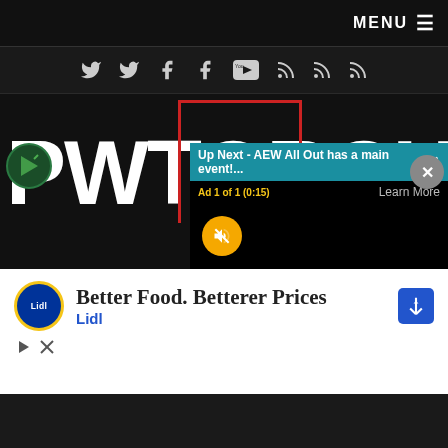MENU ☰
[Figure (screenshot): Social media icons bar: Twitter, Twitter, Facebook, Facebook, YouTube, RSS, RSS, RSS icons on dark background]
[Figure (logo): PWTORCH logo in large bold white text on dark background with red bracket overlay]
[Figure (screenshot): Video overlay panel showing 'Up Next - AEW All Out has a main event!...' with teal header, X close button, ad label 'Ad 1 of 1 (0:15)', Learn More link, muted speaker button]
[Figure (screenshot): Advertisement banner: Lidl logo, 'Better Food. Betterer Prices' headline, 'Lidl' subtext, blue arrow icon, ad disclosure icons]